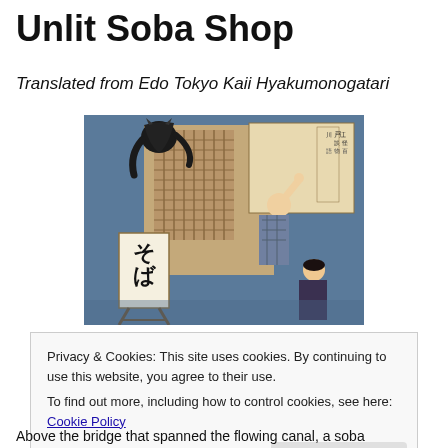Unlit Soba Shop
Translated from Edo Tokyo Kaii Hyakumonogatari
[Figure (illustration): Japanese ukiyo-e woodblock print depicting a dark supernatural creature (oni/demon) on a building's latticed wall, with two women below, one reaching upward. Japanese calligraphy text panel visible at upper right. A soba shop sign is visible in the lower left.]
Privacy & Cookies: This site uses cookies. By continuing to use this website, you agree to their use.
To find out more, including how to control cookies, see here: Cookie Policy
Above the bridge that spanned the flowing canal, a soba